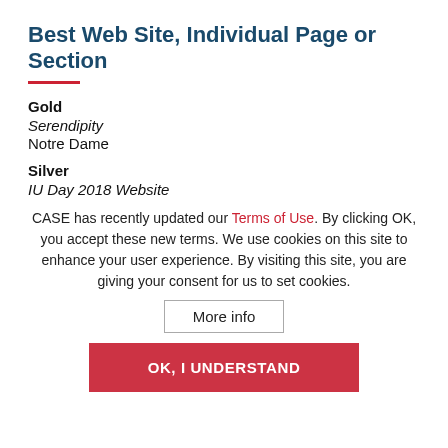Best Web Site, Individual Page or Section
Gold
Serendipity
Notre Dame
Silver
IU Day 2018 Website
CASE has recently updated our Terms of Use. By clicking OK, you accept these new terms. We use cookies on this site to enhance your user experience. By visiting this site, you are giving your consent for us to set cookies.
More info
OK, I UNDERSTAND